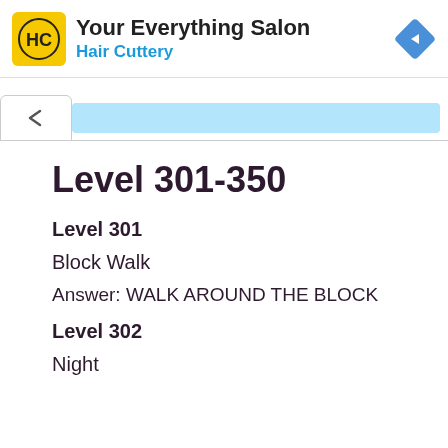[Figure (screenshot): Advertisement banner for Hair Cuttery salon with yellow logo, navigation arrow icon, and ad controls]
Level 301-350
Level 301
Block Walk
Answer: WALK AROUND THE BLOCK
Level 302
Night